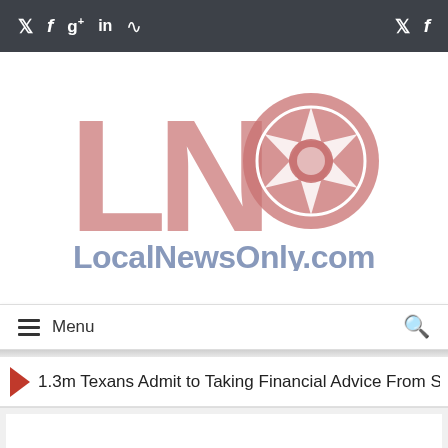Social media icons bar (Twitter, Facebook, Google+, LinkedIn, RSS — left; Twitter, Facebook — right)
[Figure (logo): LNO logo with large red/pink letters L, N and a camera aperture icon replacing the O, with 'LocalNewsOnly.com' in blue-grey text below]
≡ Menu
1.3m Texans Admit to Taking Financial Advice From Social